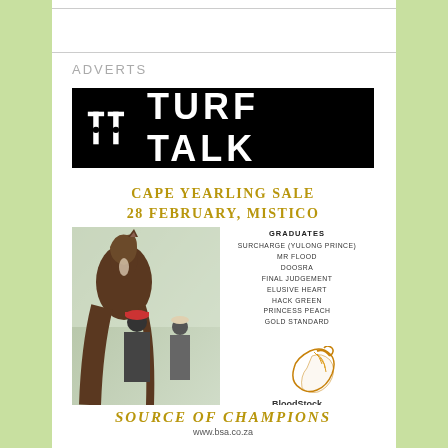ADVERTS
[Figure (logo): Turf Talk logo — white 'tt' lettermark and 'TURF TALK' text on black background]
[Figure (infographic): Cape Yearling Sale advertisement. Heading: CAPE YEARLING SALE 28 FEBRUARY, MISTICO. Photo of horse being held by two men. Graduates list: SURCHARGE (YULONG PRINCE), MR FLOOD, DOOSRA, FINAL JUDGEMENT, ELUSIVE HEART, HACK GREEN, PRINCESS PEACH, GOLD STANDARD. BloodStock South Africa logo. Source of Champions tagline. www.bsa.co.za]